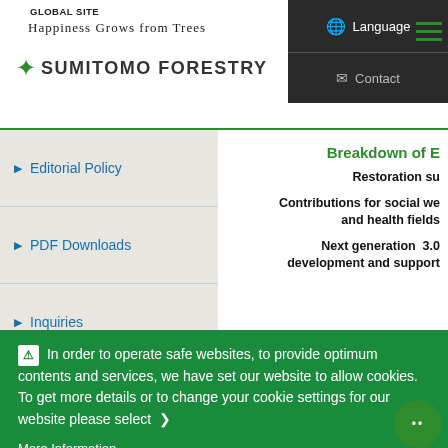GLOBAL SITE
Happiness Grows from Trees
SUMITOMO FORESTRY
Editorial Policy
PDF Downloads
Inquiries
Breakdown of E
Restoration su
Contributions for social we and health fields
Next generation 3.0 development and support
In order to operate safe websites, to provide optimum contents and services, we have set our website to allow cookies. To get more details or to change your cookie settings for our website please select ❯
More Information
I agree.
Disagree.